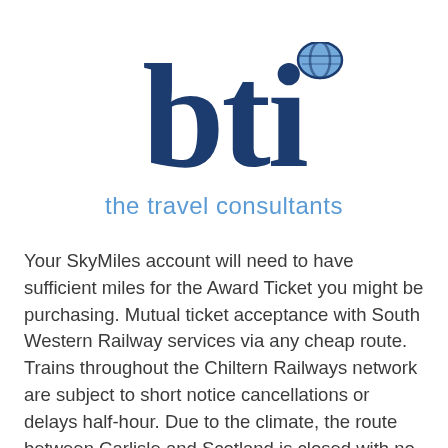[Figure (logo): BTI – the travel consultants logo. Large dark navy bold letters 'bti' with a globe accent on the 'i', and subtitle 'the travel consultants' in light blue below.]
Your SkyMiles account will need to have sufficient miles for the Award Ticket you might be purchasing. Mutual ticket acceptance with South Western Railway services via any cheap route. Trains throughout the Chiltern Railways network are subject to short notice cancellations or delays half-hour. Due to the climate, the route between Carlisle and Scotland is closed with no trains, or substitute buses,